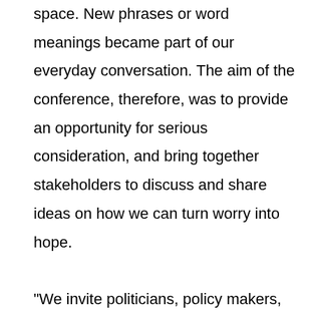space. New phrases or word meanings became part of our everyday conversation. The aim of the conference, therefore, was to provide an opportunity for serious consideration, and bring together stakeholders to discuss and share ideas on how we can turn worry into hope. "We invite politicians, policy makers, local and community government officials and the public to consider and take action on the recommendations presented in the report. There is a combination of recommendations that